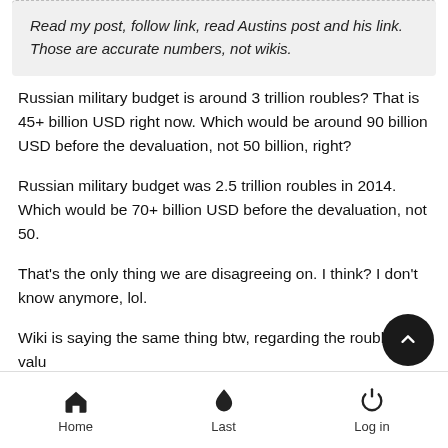Read my post, follow link, read Austins post and his link. Those are accurate numbers, not wikis.
Russian military budget is around 3 trillion roubles? That is 45+ billion USD right now. Which would be around 90 billion USD before the devaluation, not 50 billion, right?
Russian military budget was 2.5 trillion roubles in 2014. Which would be 70+ billion USD before the devaluation, not 50.
That's the only thing we are disagreeing on. I think? I don't know anymore, lol.
Wiki is saying the same thing btw, regarding the rouble value of the budget. It's sourced.
Home   Last   Log in